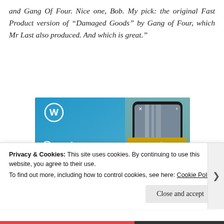and Gang Of Four. Nice one, Bob. My pick: the original Fast Product version of “Damaged Goods” by Gang of Four, which Mr Last also produced. And which is great.”
[Figure (screenshot): WordPress advertisement showing 'Create immersive stories.' with a phone showing a waterfall photo captioned 'VISITING SKOGAFOSS']
Privacy & Cookies: This site uses cookies. By continuing to use this website, you agree to their use.
To find out more, including how to control cookies, see here: Cookie Policy